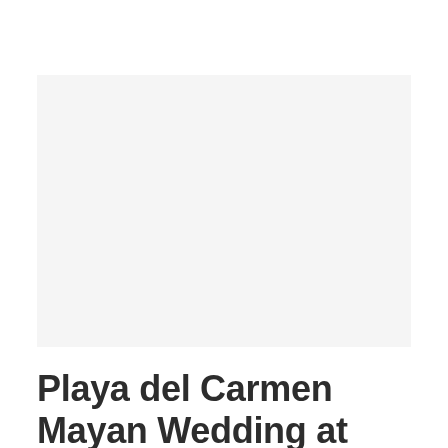[Figure (photo): A large light gray rectangular placeholder image area, representing a wedding photo that has not loaded or is blank.]
Playa del Carmen Mayan Wedding at Grand Coral Beach Club – Erin and